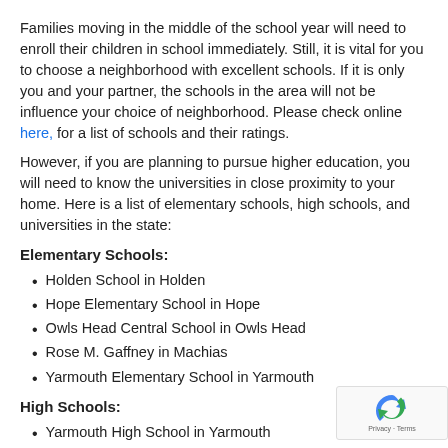Families moving in the middle of the school year will need to enroll their children in school immediately. Still, it is vital for you to choose a neighborhood with excellent schools. If it is only you and your partner, the schools in the area will not be influence your choice of neighborhood. Please check online here, for a list of schools and their ratings.
However, if you are planning to pursue higher education, you will need to know the universities in close proximity to your home. Here is a list of elementary schools, high schools, and universities in the state:
Elementary Schools:
Holden School in Holden
Hope Elementary School in Hope
Owls Head Central School in Owls Head
Rose M. Gaffney in Machias
Yarmouth Elementary School in Yarmouth
High Schools:
Yarmouth High School in Yarmouth
Me School of Science & Mathematics in Limestone
Greely High School in Cumberland Center